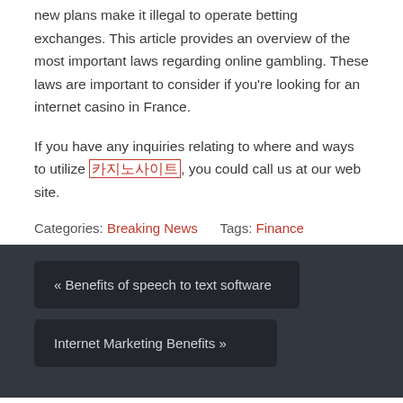new plans make it illegal to operate betting exchanges. This article provides an overview of the most important laws regarding online gambling. These laws are important to consider if you're looking for an internet casino in France.
If you have any inquiries relating to where and ways to utilize [link], you could call us at our web site.
Categories: Breaking News     Tags: Finance
« Benefits of speech to text software
Internet Marketing Benefits »